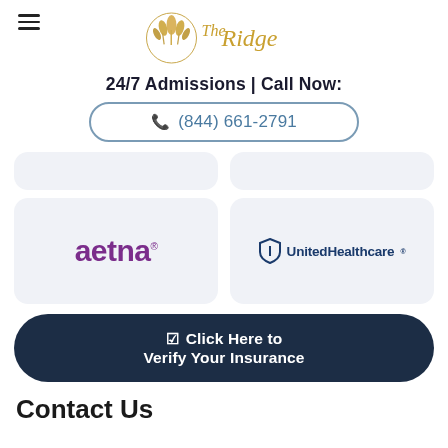[Figure (logo): The Ridge logo with golden emblem and cursive text]
24/7 Admissions | Call Now:
📞 (844) 661-2791
[Figure (logo): Aetna insurance logo in purple]
[Figure (logo): UnitedHealthcare insurance logo in dark blue]
☑ Click Here to Verify Your Insurance
Contact Us